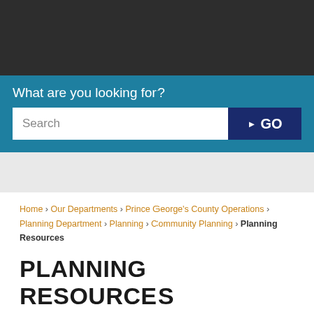What are you looking for?
Search  GO
Home › Our Departments › Prince George's County Operations › Planning Department › Planning › Community Planning › Planning Resources
PLANNING RESOURCES
Prince George's County A...